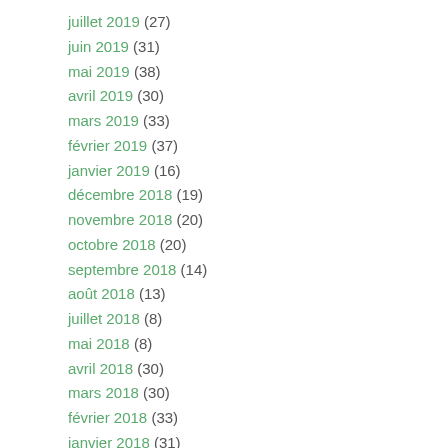juillet 2019 (27)
juin 2019 (31)
mai 2019 (38)
avril 2019 (30)
mars 2019 (33)
février 2019 (37)
janvier 2019 (16)
décembre 2018 (19)
novembre 2018 (20)
octobre 2018 (20)
septembre 2018 (14)
août 2018 (13)
juillet 2018 (8)
mai 2018 (8)
avril 2018 (30)
mars 2018 (30)
février 2018 (33)
janvier 2018 (31)